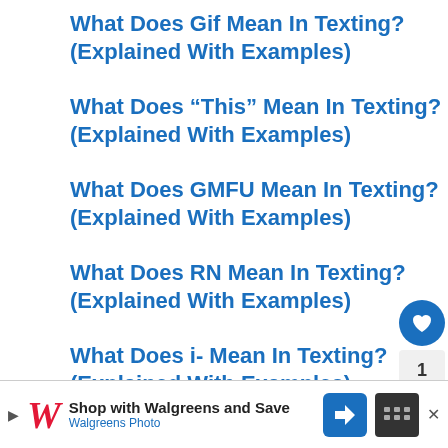What Does Gif Mean In Texting? (Explained With Examples)
What Does “This” Mean In Texting? (Explained With Examples)
What Does GMFU Mean In Texting? (Explained With Examples)
What Does RN Mean In Texting? (Explained With Examples)
What Does i- Mean In Texting? (Explained With Examples)
What Does FR Mean In Texting?
WHAT'S NEXT → 30+ Slang Words for...
Shop with Walgreens and Save Walgreens Photo